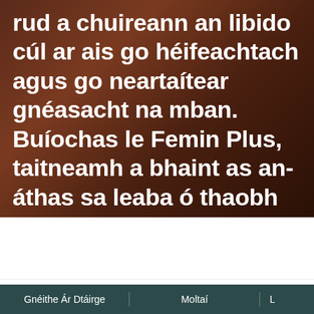rud a chuireann an libido cúl ar ais go héifeachtach agus go neartaítear gnéasacht na mban. Buíochas le Femin Plus, taitneamh a bhaint as an-áthas sa leaba ó thaobh dearcadh nua.
[Figure (photo): Product photo of Femin Plus supplement box and bottle on a white background, with a red YouTube-style play button icon to the left]
go dtí deireadh an chur chun cinn 9h 10min.
Gnéithe Ár Dtáirge    Moltaí    L